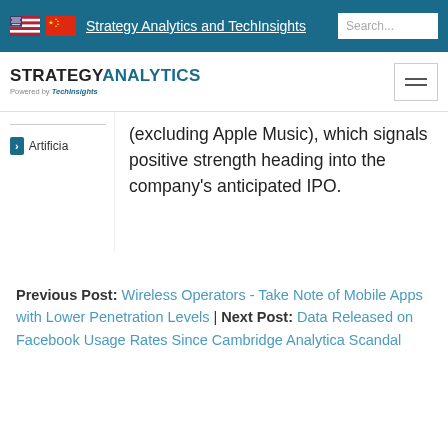Strategy Analytics and TechInsights
[Figure (logo): Strategy Analytics powered by TechInsights logo with hamburger menu]
(excluding Apple Music), which signals positive strength heading into the company's anticipated IPO.
Previous Post: Wireless Operators - Take Note of Mobile Apps with Lower Penetration Levels | Next Post: Data Released on Facebook Usage Rates Since Cambridge Analytica Scandal